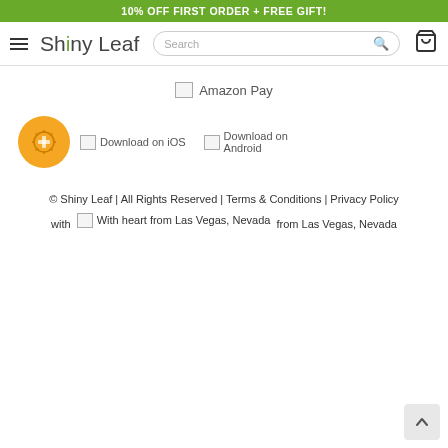10% OFF FIRST ORDER + FREE GIFT!
[Figure (screenshot): Shiny Leaf logo with navigation bar including hamburger menu, search box, and cart icon]
[Figure (logo): Amazon Pay image placeholder]
[Figure (illustration): Gift/sunburst orange circular icon, Download on iOS placeholder image, Download on Android placeholder image]
© Shiny Leaf | All Rights Reserved | Terms & Conditions | Privacy Policy
with [heart icon] from Las Vegas, Nevada